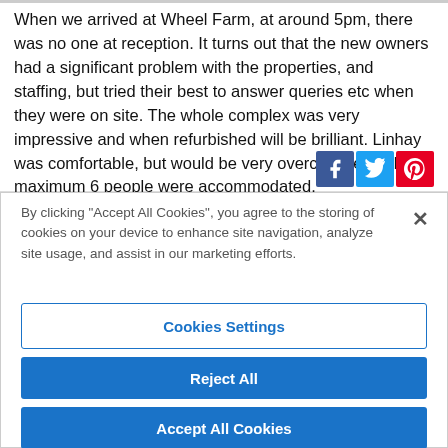When we arrived at Wheel Farm, at around 5pm, there was no one at reception. It turns out that the new owners had a significant problem with the properties, and staffing, but tried their best to answer queries etc when they were on site. The whole complex was very impressive and when refurbished will be brilliant. Linhay was comfortable, but would be very overcrowded if the maximum 6 people were accommodated.
By clicking "Accept All Cookies", you agree to the storing of cookies on your device to enhance site navigation, analyze site usage, and assist in our marketing efforts.
Cookies Settings
Reject All
Accept All Cookies